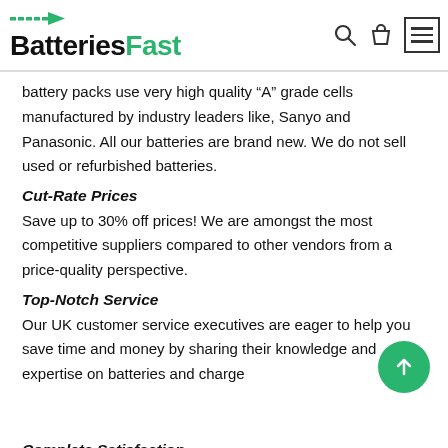BatteriesFast
battery packs use very high quality “A” grade cells manufactured by industry leaders like, Sanyo and Panasonic. All our batteries are brand new. We do not sell used or refurbished batteries.
Cut-Rate Prices
Save up to 30% off prices! We are amongst the most competitive suppliers compared to other vendors from a price-quality perspective.
Top-Notch Service
Our UK customer service executives are eager to help you save time and money by sharing their knowledge and expertise on batteries and charge
Complete Satisfaction
Your absolute satisfaction is our top objective. We offer...